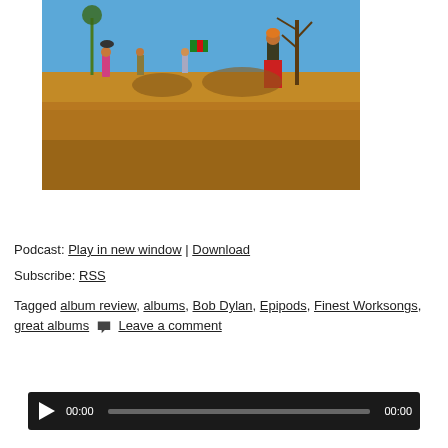[Figure (photo): Outdoor photograph showing several people in colorful traditional clothing walking and playing in an open field with dry brown grass under a clear blue sky, with bare trees in the background.]
[Figure (screenshot): Audio podcast player with dark background, play button, time display showing 00:00, progress bar, and end time 00:00.]
Podcast: Play in new window | Download
Subscribe: RSS
Tagged album review, albums, Bob Dylan, Epipods, Finest Worksongs, great albums  Leave a comment